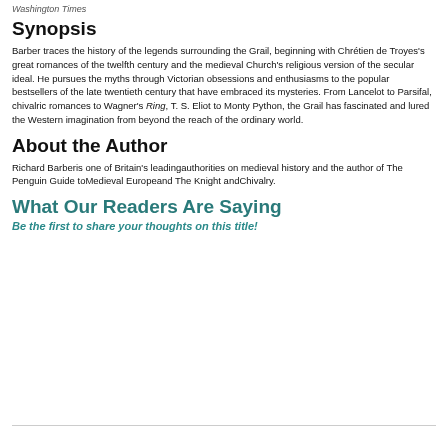Washington Times
Synopsis
Barber traces the history of the legends surrounding the Grail, beginning with Chrétien de Troyes's great romances of the twelfth century and the medieval Church's religious version of the secular ideal. He pursues the myths through Victorian obsessions and enthusiasms to the popular bestsellers of the late twentieth century that have embraced its mysteries. From Lancelot to Parsifal, chivalric romances to Wagner's Ring, T. S. Eliot to Monty Python, the Grail has fascinated and lured the Western imagination from beyond the reach of the ordinary world.
About the Author
Richard Barberis one of Britain's leadingauthorities on medieval history and the author of The Penguin Guide toMedieval Europeand The Knight andChivalry.
What Our Readers Are Saying
Be the first to share your thoughts on this title!